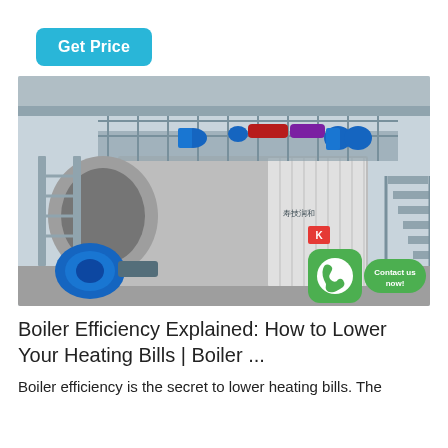[Figure (other): Cyan/blue rounded rectangle button labeled 'Get Price']
[Figure (photo): Industrial boiler system in a large facility. Large gray metal boiler unit with blue burner, piping, blue pumps, scaffolding/walkways, and Chinese manufacturer branding. WhatsApp icon and 'Contact us now!' green button overlaid at bottom right.]
Boiler Efficiency Explained: How to Lower Your Heating Bills | Boiler ...
Boiler efficiency is the secret to lower heating bills. The